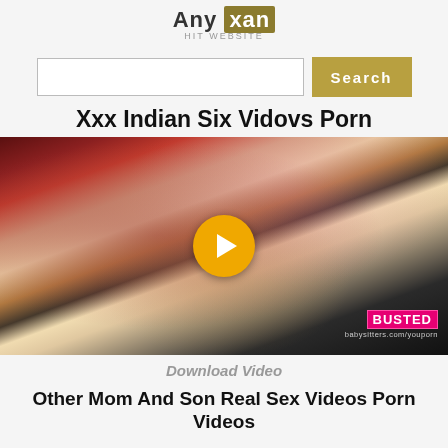Any xan HIT WEBSITE
[Figure (screenshot): Search bar with text input and Search button]
Xxx Indian Six Vidovs Porn
[Figure (photo): Video thumbnail with play button overlay and BUSTED babysitters.com/youporn watermark]
Download Video
Other Mom And Son Real Sex Videos Porn Videos